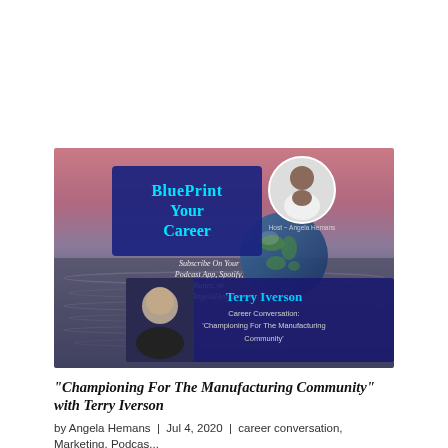[Figure (illustration): BluePrint Your Career podcast cover art featuring a globe in water background, 'BluePrint Your Career' text in blue box, headshot of host Angela Hemans in top-right circle, headshot of guest Terry Iverson in bottom-left, and text: Subscribe On Your Podcast App, Spotify, Itunes, or Listen at AngelaHemans.com. Bottom banner: Terry Iverson, Career Conversation: 'Championing For The Manufacturing Community']
“Championing For The Manufacturing Community” with Terry Iverson
by Angela Hemans | Jul 4, 2020 | career conversation, Marketing, Podcas...